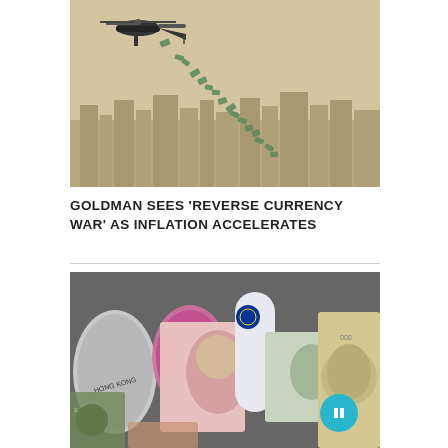[Figure (photo): Helicopter flying over a city skyline dropping money bills (green currency notes scattered in the air), beige/tan sky background]
GOLDMAN SEES ‘REVERSE CURRENCY WAR’ AS INFLATION ACCELERATES
[Figure (photo): Multiple rolled and flat international currency banknotes including Hong Kong Dollar, British Pound (Queen Elizabeth), Euro, Chinese Yuan, US Dollar (Benjamin Franklin), and Japanese Yen, displayed together]